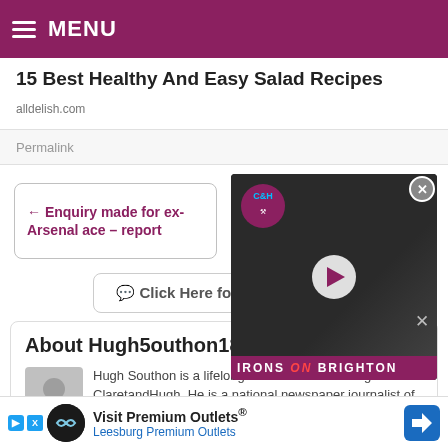MENU
15 Best Healthy And Easy Salad Recipes
alldelish.com
Permalink
← Enquiry made for ex-Arsenal ace – report
Make your mind up time still hasn't arrived for Moysie →
💬 Click Here for Comments >
[Figure (screenshot): Video overlay showing C&H logo and man with glasses, with IRONS ON BRIGHTON text banner and play button]
About Hugh5outhon1895
Hugh Southon is a lifelong Iron and the founding editor of ClaretandHugh. He is a national newspaper journalist of
Claret
Visit Premium Outlets® Leesburg Premium Outlets